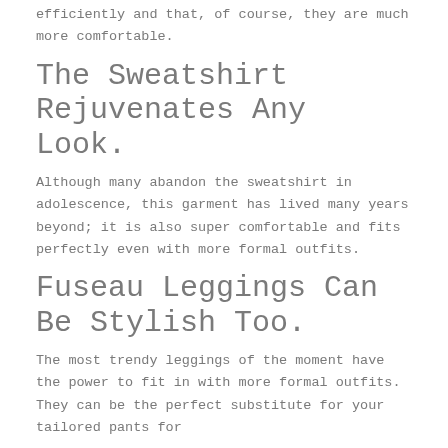efficiently and that, of course, they are much more comfortable.
The Sweatshirt Rejuvenates Any Look.
Although many abandon the sweatshirt in adolescence, this garment has lived many years beyond; it is also super comfortable and fits perfectly even with more formal outfits.
Fuseau Leggings Can Be Stylish Too.
The most trendy leggings of the moment have the power to fit in with more formal outfits. They can be the perfect substitute for your tailored pants for